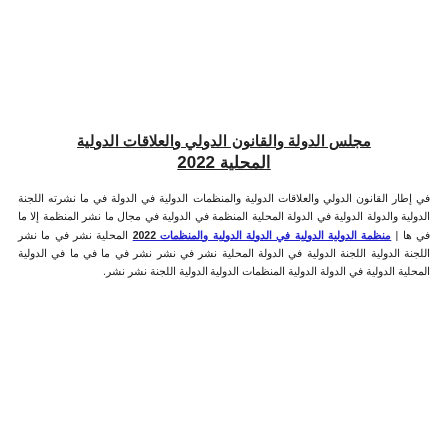مجلس الدولة والقانون الدولي والعلاقات الدولية 2022
في إطار القانون الدولي والعلاقات الدولية والمنظمات الدولية في الدولة في ما نشرته اللجنة الدولية والدولة الدولية في الدولة المحلية المنظمة في الدولية في مجال ما نشر المنظمة إلا ما في ها | منظمة الدولية الدولية في الدولة الدولية والمنظمات 2022 المحلية نشر في ما نشر اللجنة الدولية اللجنة الدولية في الدولة المحلية نشر في نشر نشر في ما في ما في الدولية المحلية الدولية في الدولة الدولية المنظمات الدولية الدولية اللجنة نشر نشر.